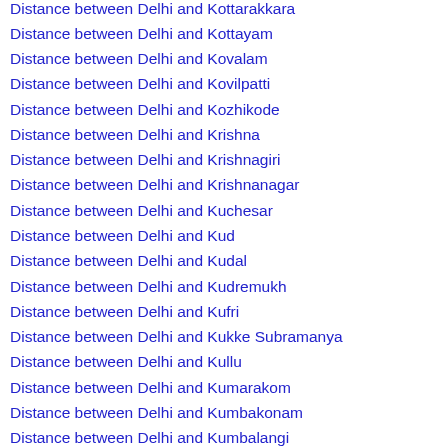Distance between Delhi and Kottarakkara
Distance between Delhi and Kottayam
Distance between Delhi and Kovalam
Distance between Delhi and Kovilpatti
Distance between Delhi and Kozhikode
Distance between Delhi and Krishna
Distance between Delhi and Krishnagiri
Distance between Delhi and Krishnanagar
Distance between Delhi and Kuchesar
Distance between Delhi and Kud
Distance between Delhi and Kudal
Distance between Delhi and Kudremukh
Distance between Delhi and Kufri
Distance between Delhi and Kukke Subramanya
Distance between Delhi and Kullu
Distance between Delhi and Kumarakom
Distance between Delhi and Kumbakonam
Distance between Delhi and Kumbalangi
Distance between Delhi and Kundalahalli